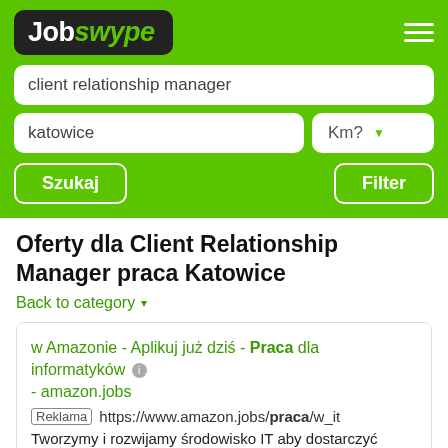[Figure (logo): Jobswype logo in black rounded rectangle on green background, with hamburger menu icon]
client relationship manager
katowice   Km?
Szukaj   Filter
Oferty dla Client Relationship Manager praca Katowice
Back to category ▾
w Amazonie - Aplikuj już dziś - Praca dla informatyków - amazon.jobs
Reklama https://www.amazon.jobs/praca/w_it
Tworzymy i rozwijamy środowisko IT aby dostarczyć naszym klientom najwyższej klasy obsługę. Wykorzystujemy najnowsze technologie w dziedzinie IT. Dołącz do...